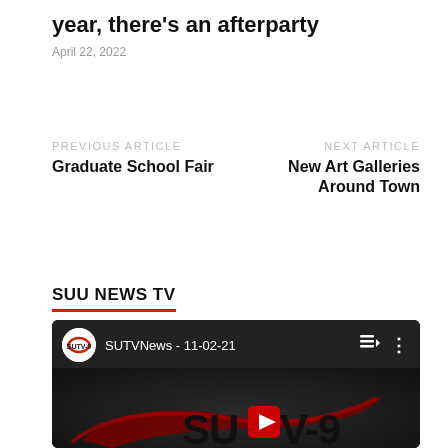year, there's an afterparty
April 22, 2022
PREVIOUS ARTICLE
Graduate School Fair
NEXT ARTICLE
New Art Galleries Around Town
SUU NEWS TV
[Figure (screenshot): YouTube video embed showing SUTVNews - 11-02-21 with SUTV-9 logo visible in thumbnail]